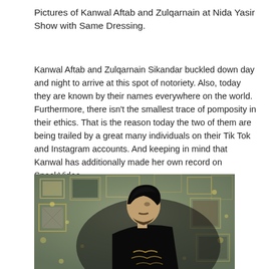Pictures of Kanwal Aftab and Zulqarnain at Nida Yasir Show with Same Dressing.
Kanwal Aftab and Zulqarnain Sikandar buckled down day and night to arrive at this spot of notoriety. Also, today they are known by their names everywhere on the world. Furthermore, there isn't the smallest trace of pomposity in their ethics. That is the reason today the two of them are being trailed by a great many individuals on their Tik Tok and Instagram accounts. And keeping in mind that Kanwal has additionally made her own record on SnackVideo.
[Figure (photo): A young man with styled black hair and beard wearing a black outfit with gold embroidery, photographed in profile/three-quarter view against a background wall covered with framed pictures and bokeh lights.]